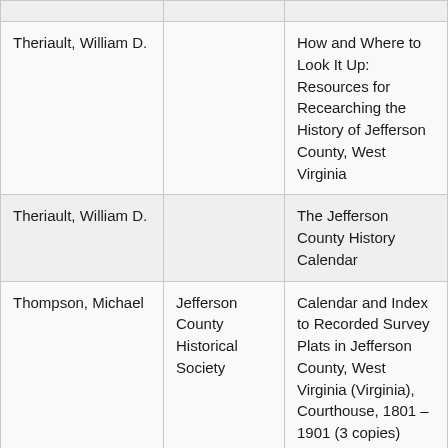| Theriault, William D. |  | How and Where to Look It Up: Resources for Recearching the History of Jefferson County, West Virginia |
| Theriault, William D. |  | The Jefferson County History Calendar |
| Thompson, Michael | Jefferson County Historical Society | Calendar and Index to Recorded Survey Plats in Jefferson County, West Virginia (Virginia), Courthouse, 1801 – 1901 (3 copies) |